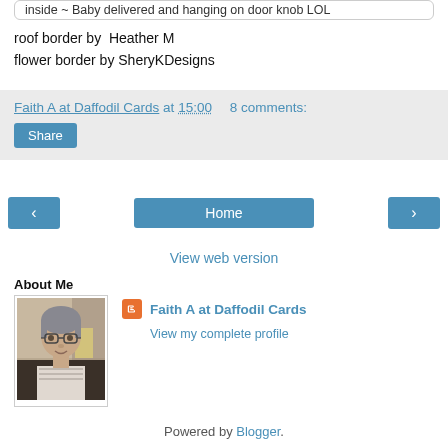inside ~ Baby delivered and hanging on door knob LOL
roof border by  Heather M
flower border by SheryKDesigns
Faith A at Daffodil Cards at 15:00    8 comments:
Share
‹
Home
›
View web version
About Me
[Figure (photo): Profile photo of Faith A at Daffodil Cards, a woman with short grey hair and glasses]
Faith A at Daffodil Cards
View my complete profile
Powered by Blogger.